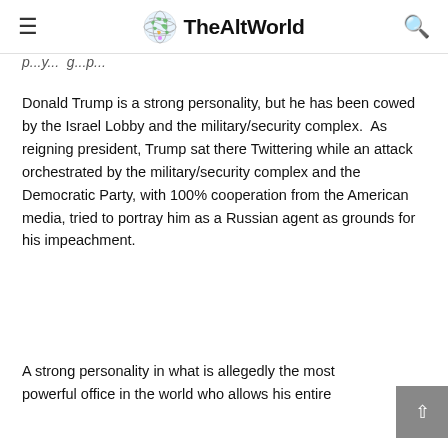TheAltWorld
p...y...p...
Donald Trump is a strong personality, but he has been cowed by the Israel Lobby and the military/security complex.  As reigning president, Trump sat there Twittering while an attack orchestrated by the military/security complex and the Democratic Party, with 100% cooperation from the American media, tried to portray him as a Russian agent as grounds for his impeachment.
A strong personality in what is allegedly the most powerful office in the world who allows his entire